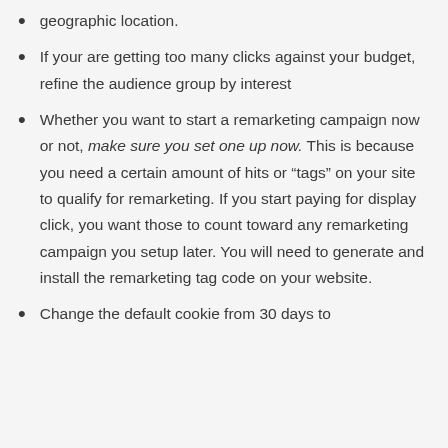geographic location.
If your are getting too many clicks against your budget, refine the audience group by interest
Whether you want to start a remarketing campaign now or not, make sure you set one up now. This is because you need a certain amount of hits or “tags” on your site to qualify for remarketing. If you start paying for display click, you want those to count toward any remarketing campaign you setup later. You will need to generate and install the remarketing tag code on your website.
Change the default cookie from 30 days to